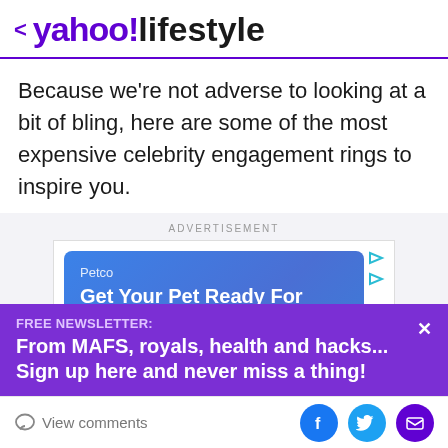< yahoo!lifestyle
Because we're not adverse to looking at a bit of bling, here are some of the most expensive celebrity engagement rings to inspire you.
[Figure (screenshot): Advertisement banner showing a Petco ad with blue gradient background. Text reads: 'Petco', 'Get Your Pet Ready For Summer', 'Take your pet's summer to the next level with Petco'. Label at top says ADVERTISEMENT.]
FREE NEWSLETTER:
From MAFS, royals, health and hacks... Sign up here and never miss a thing!
View comments